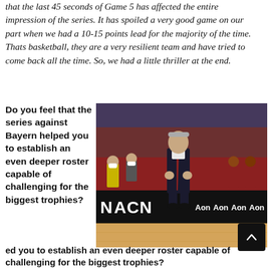that the last 45 seconds of Game 5 has affected the entire impression of the series. It has spoiled a very good game on our part when we had a 10-15 points lead for the majority of the time. Thats basketball, they are a very resilient team and have tried to come back all the time. So, we had a little thriller at the end.
Do you feel that the series against Bayern helped you to establish an even deeper roster capable of challenging for the biggest trophies?
[Figure (photo): A basketball coach in a dark suit and red tie walks on the court during a game. The arena floor shows ACN and Aon sponsor logos on the boards. People in the stands and team bench are visible in the background.]